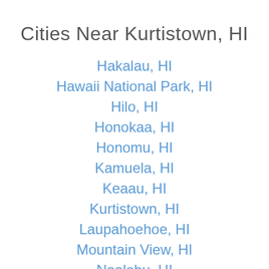Cities Near Kurtistown, HI
Hakalau, HI
Hawaii National Park, HI
Hilo, HI
Honokaa, HI
Honomu, HI
Kamuela, HI
Keaau, HI
Kurtistown, HI
Laupahoehoe, HI
Mountain View, HI
Naalehu, HI
Ninole, HI